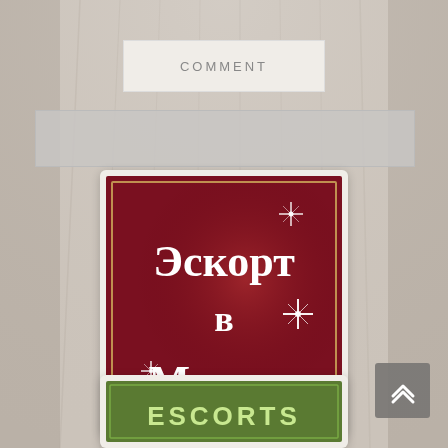[Figure (screenshot): Gray textured background resembling draped curtain fabric]
COMMENT
[Figure (illustration): Dark red banner with ornate Cyrillic text reading 'Эскорт в Москве' (Escort in Moscow) with white sparkle star effects]
[Figure (illustration): Green banner with runic/angular styled text reading 'ESCORTS']